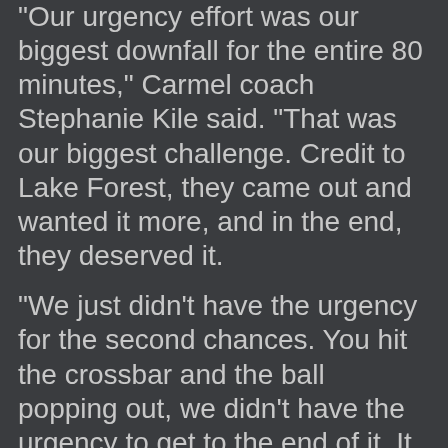"Our urgency effort was our biggest downfall for the entire 80 minutes," Carmel coach Stephanie Kile said. "That was our biggest challenge. Credit to Lake Forest, they came out and wanted it more, and in the end, they deserved it.
“We just didn't have the urgency for the second chances. You hit the crossbar and the ball popping out, we didn't have the urgency to get to the end of it. It really didn't help us at the end."
Corsairs' star forward Emily Fix (18 goals, 8 assists) had excellent chances